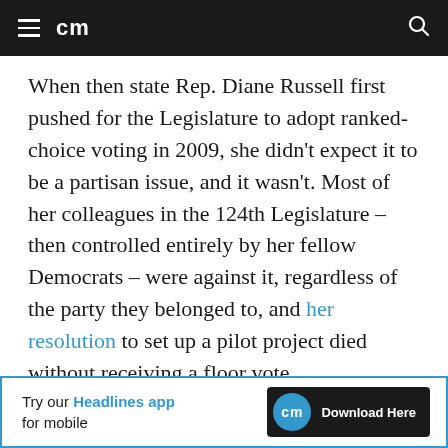cm
When then state Rep. Diane Russell first pushed for the Legislature to adopt ranked-choice voting in 2009, she didn't expect it to be a partisan issue, and it wasn't. Most of her colleagues in the 124th Legislature – then controlled entirely by her fellow Democrats – were against it, regardless of the party they belonged to, and her resolution to set up a pilot project died without receiving a floor vote.
“I’d looked at the research, and I thought this
[Figure (infographic): Advertisement banner: 'Try our Headlines app for mobile' with CM logo and 'Download Here' button]